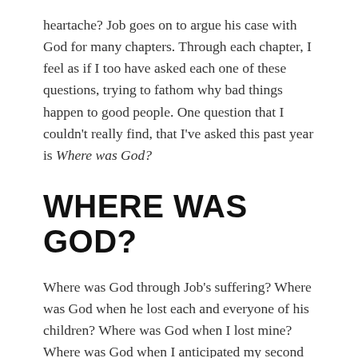heartache? Job goes on to argue his case with God for many chapters. Through each chapter, I feel as if I too have asked each one of these questions, trying to fathom why bad things happen to good people. One question that I couldn't really find, that I've asked this past year is Where was God?
WHERE WAS GOD?
Where was God through Job's suffering? Where was God when he lost each and everyone of his children? Where was God when I lost mine? Where was God when I anticipated my second ultrasound, only to hear the words I'm sorry, but there isn't a heartbeat. Where was God when the grief and heartache hit me as I woke up from surgery? Where was God when I was bleeding, and feeling labor pains knowing full well I was going to endure a second loss. Where was